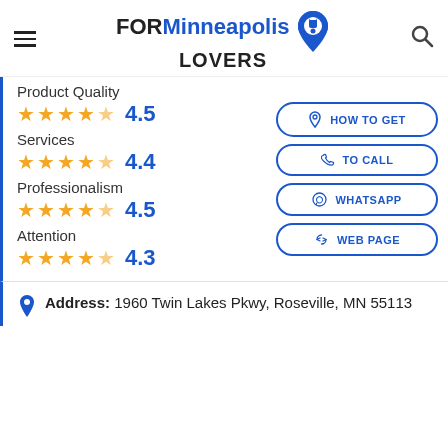FORMinneapolis LOVERS
Product Quality 4.5
Services 4.4
Professionalism 4.5
Attention 4.3
HOW TO GET
TO CALL
WHATSAPP
WEB PAGE
Address: 1960 Twin Lakes Pkwy, Roseville, MN 55113